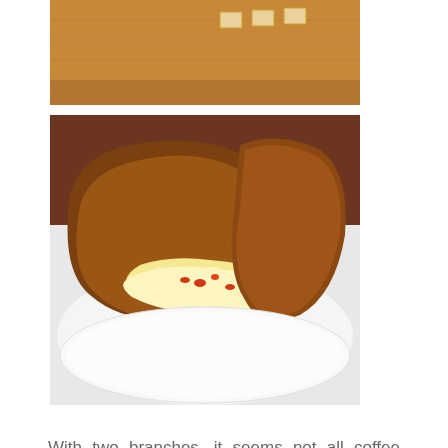[Figure (photo): Partial view of a room with warm orange/wood-paneled walls and small framed items on the wall, top portion cropped]
[Figure (photo): A grilled cheese sandwich cut in half showing melted white cheese oozing out with red pepper pieces, served on a white plate, toasted dark brown bread]
With two branches, it seems not all coffee chains are evil. This one's f**king brilliant. For a start, the coffee's fabulous. Even more encouraging, they employ many an Aussie, which is usually a